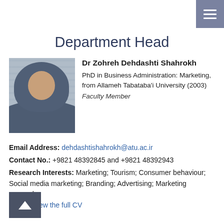Department Head
[Figure (photo): Portrait photo of Dr Zohreh Dehdashti Shahrokh wearing a dark hijab, with venetian blinds visible in the background]
Dr Zohreh Dehdashti Shahrokh
PhD in Business Administration: Marketing, from Allameh Tabataba'i University (2003)
Faculty Member
Email Address: dehdashtishahrokh@atu.ac.ir
Contact No.: +9821 48392845 and +9821 48392943
Research Interests: Marketing; Tourism; Consumer behaviour; Social media marketing; Branding; Advertising; Marketing research.
Click to view the full CV